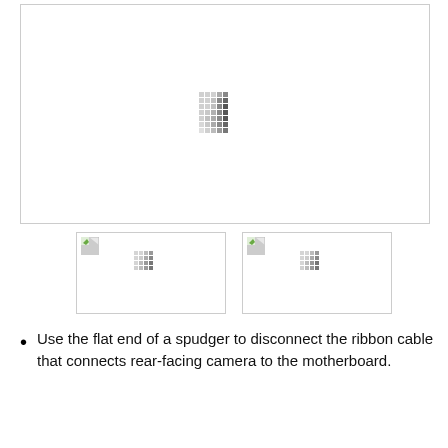[Figure (photo): Large image placeholder with loading pixel-dot pattern in center, bordered box]
[Figure (photo): Thumbnail image placeholder 1 with small icon top-left and pixel-dot pattern]
[Figure (photo): Thumbnail image placeholder 2 with small icon top-left and pixel-dot pattern]
Use the flat end of a spudger to disconnect the ribbon cable that connects rear-facing camera to the motherboard.